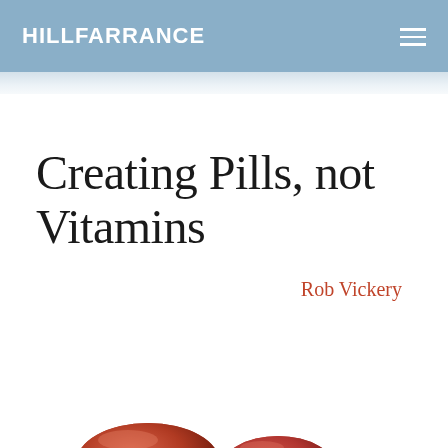HILLFARRANCE
Creating Pills, not Vitamins
Rob Vickery
[Figure (photo): Close-up photo of two red/orange capsule pills partially visible at the bottom of the page against a white background]